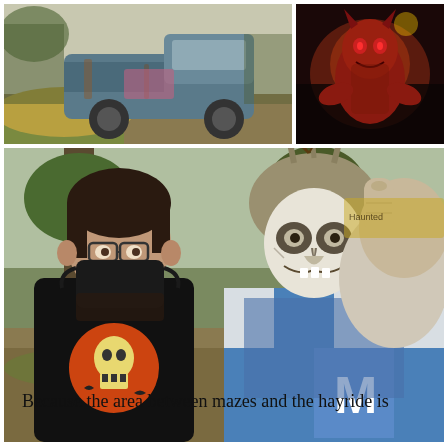[Figure (photo): Rusted old blue truck on dirt/grass at a Halloween haunt attraction]
[Figure (photo): Person in red monster/devil costume at a dark Halloween attraction]
[Figure (photo): Selfie of a man wearing glasses and a black face mask with a skeleton Halloween shirt, posing next to a person in creepy white face paint and gray wig wearing a blue letterman jacket with 'M' on the sleeve, pointing at camera]
Because the area between mazes and the hayride is